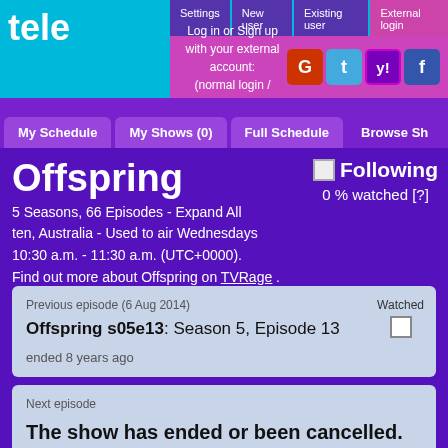tele
Settings | New user | Existing user | External login
Log in or Sign up with your external account: (normal login / normal sign up)
My Schedule | My Shows (0) | Full Schedule | Browse Sh
Offspring
5 Seasons, 66 Episodes - Expand All
ten, Australia - Used to air Wednesdays 10:30 a.m. - 11:30 a.m. (UTC+0000).
Find out more about Offspring on TVRage .
Following
0 % watched [?]
Previous episode (6 Aug 2014)
Offspring s05e13: Season 5, Episode 13
ended 8 years ago
Watched
Next episode
The show has ended or been cancelled.